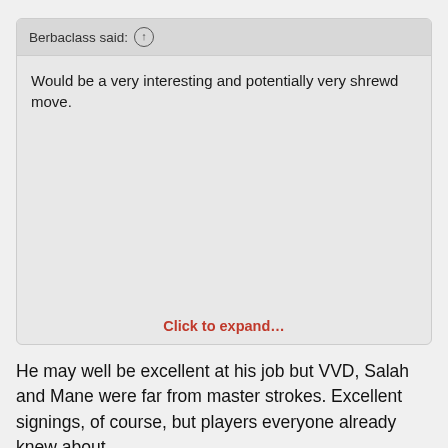Berbaclass said: ↑
Would be a very interesting and potentially very shrewd move.
Click to expand…
He may well be excellent at his job but VVD, Salah and Mane were far from master strokes. Excellent signings, of course, but players everyone already knew about.
Jun 23, 2022  #84
Carl
has permanently erect nipples